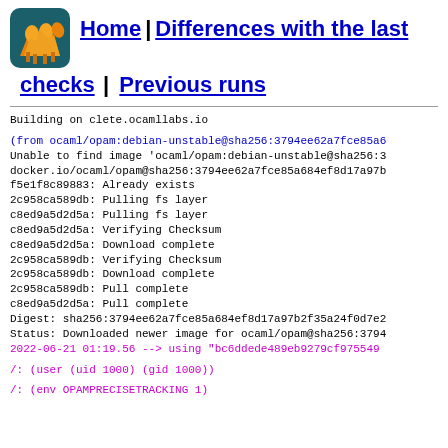[Figure (logo): OCaml camel logo — orange/yellow origami-style camel on dark teal square background]
Home | Differences with the last checks | Previous runs
Building on clete.ocamllabs.io

(from ocaml/opam:debian-unstable@sha256:3794ee62a7fce85a6...
Unable to find image 'ocaml/opam:debian-unstable@sha256:3...
docker.io/ocaml/opam@sha256:3794ee62a7fce85a684ef8d17a97b...
f5e1f8c89883: Already exists
2c958ca589db: Pulling fs layer
c8ed9a5d2d5a: Pulling fs layer
c8ed9a5d2d5a: Verifying Checksum
c8ed9a5d2d5a: Download complete
2c958ca589db: Verifying Checksum
2c958ca589db: Download complete
2c958ca589db: Pull complete
c8ed9a5d2d5a: Pull complete
Digest: sha256:3794ee62a7fce85a684ef8d17a97b2f35a24f0d7e2...
Status: Downloaded newer image for ocaml/opam@sha256:3794...
2022-06-21 01:19.56 --> using "bc6ddede489eb9279cf975549...

/: (user (uid 1000) (gid 1000))

/: (env OPAMPRECISETRACKING 1)